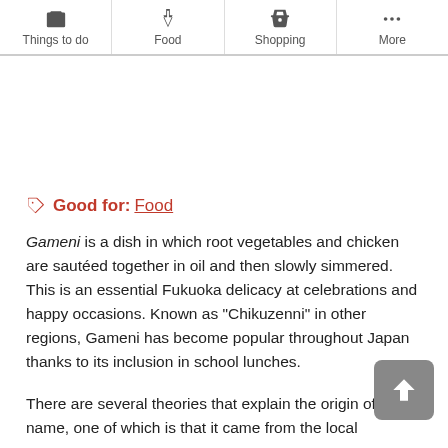Things to do | Food | Shopping | More
[Figure (other): White image placeholder area]
Good for: Food
Gameni is a dish in which root vegetables and chicken are sautéed together in oil and then slowly simmered. This is an essential Fukuoka delicacy at celebrations and happy occasions. Known as "Chikuzenni" in other regions, Gameni has become popular throughout Japan thanks to its inclusion in school lunches.
There are several theories that explain the origin of its name, one of which is that it came from the local